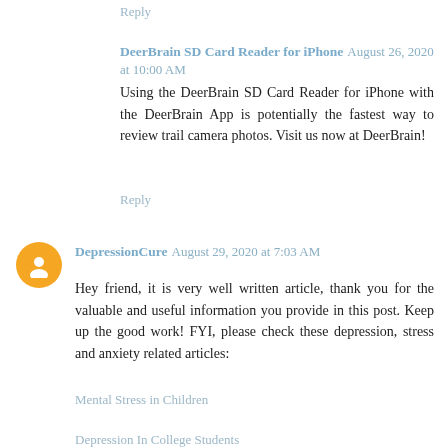Reply
DeerBrain SD Card Reader for iPhone  August 26, 2020 at 10:00 AM
Using the DeerBrain SD Card Reader for iPhone with the DeerBrain App is potentially the fastest way to review trail camera photos. Visit us now at DeerBrain!
Reply
DepressionCure  August 29, 2020 at 7:03 AM
Hey friend, it is very well written article, thank you for the valuable and useful information you provide in this post. Keep up the good work! FYI, please check these depression, stress and anxiety related articles:
Mental Stress in Children
Depression In College Students